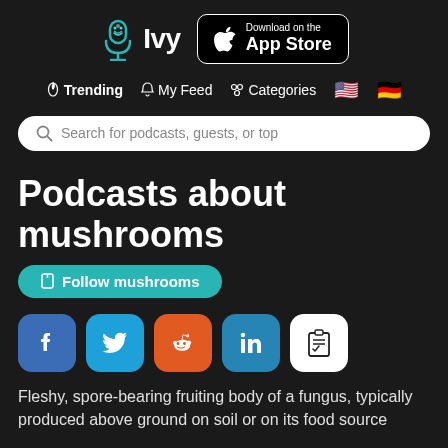[Figure (logo): Ivy podcast app logo with microphone icon and text 'Ivy', alongside Apple App Store download button]
🔥 Trending  🔔 My Feed  👥 Categories  🇺🇸 🇩🇪
Search for podcasts, guests, or top
Podcasts about mushrooms
🔖 Follow mushrooms
[Figure (infographic): Social share icons: Facebook (blue), Twitter (blue), Reddit (orange), LinkedIn (teal), Clipboard/checklist (white)]
Fleshy, spore-bearing fruiting body of a fungus, typically produced above ground on soil or on its food source
4,500   7,487